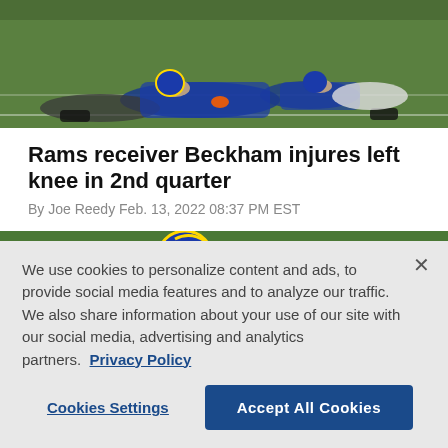[Figure (photo): Football players on grass field, players in blue and white uniforms on the ground]
Rams receiver Beckham injures left knee in 2nd quarter
By Joe Reedy Feb. 13, 2022 08:37 PM EST
[Figure (photo): Football player in blue and gold Rams uniform number 60 on green field with referee in background]
We use cookies to personalize content and ads, to provide social media features and to analyze our traffic. We also share information about your use of our site with our social media, advertising and analytics partners.  Privacy Policy
Cookies Settings  Accept All Cookies